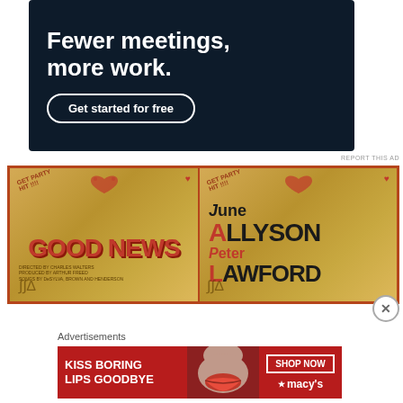[Figure (infographic): Dark navy advertisement banner with bold white text 'Fewer meetings, more work.' and a white-bordered rounded button 'Get started for free']
REPORT THIS AD
[Figure (photo): Movie poster for 'Good News' showing two panels on a golden background. Left panel: 'GOOD NEWS' in large red text. Right panel: 'June ALLYSON Peter LAWFORD' in dark and red text with decorative elements.]
Advertisements
[Figure (infographic): Macy's advertisement with red background, woman's face, text 'KISS BORING LIPS GOODBYE', 'SHOP NOW' button, and Macy's star logo]